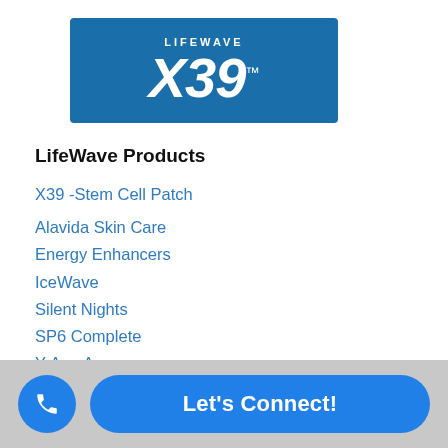[Figure (logo): LifeWave X39 logo on blue background with LIFEWAVE text above and X39 in large italic font with TM superscript]
LifeWave Products
X39 -Stem Cell Patch
Alavida Skin Care
Energy Enhancers
IceWave
Silent Nights
SP6 Complete
Y-Age Aeon
Y-Age Glutathione
Y-Age Carnosine
[Figure (infographic): Bottom bar with phone icon button and 'Let's Connect!' button in blue on grey background]